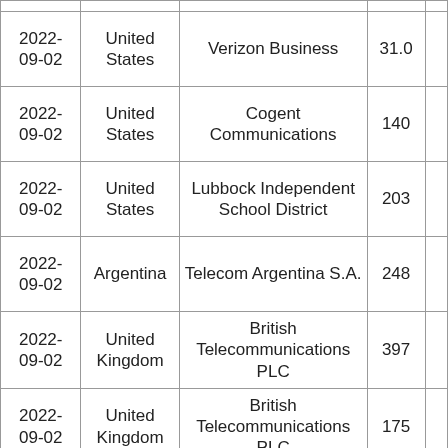| 2022-09-02 | United States | Verizon Business | 31.0 |  |
| 2022-09-02 | United States | Cogent Communications | 140 |  |
| 2022-09-02 | United States | Lubbock Independent School District | 203 |  |
| 2022-09-02 | Argentina | Telecom Argentina S.A. | 248 |  |
| 2022-09-02 | United Kingdom | British Telecommunications PLC | 397 |  |
| 2022-09-02 | United Kingdom | British Telecommunications PLC | 175 |  |
| 2022-... |  |  |  |  |